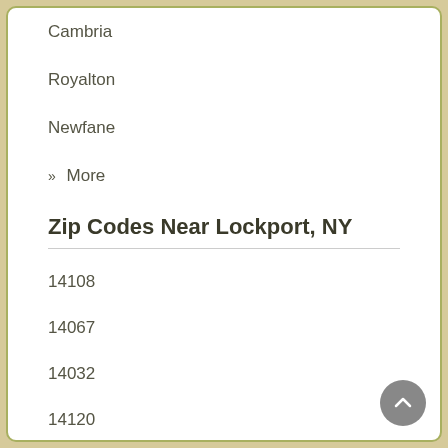Cambria
Royalton
Newfane
» More
Zip Codes Near Lockport, NY
14108
14067
14032
14120
14132